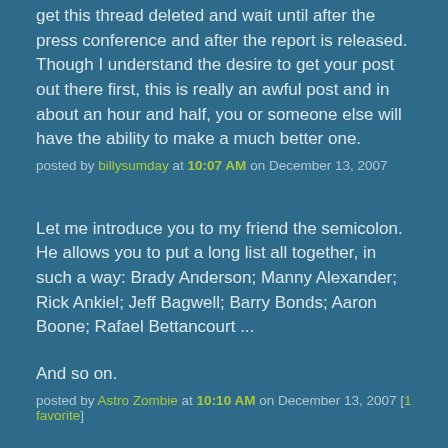get this thread deleted and wait until after the press conference and after the report is released. Though I understand the desire to get your post out there first, this is really an awful post and in about an hour and half, you or someone else will have the ability to make a much better one.
posted by billysumday at 10:07 AM on December 13, 2007
Let me introduce you to my friend the semicolon. He allows you to put a long list all together, in such a way: Brady Anderson; Manny Alexander; Rick Ankiel; Jeff Bagwell; Barry Bonds; Aaron Boone; Rafael Bettancourt ...
And so on.
posted by Astro Zombie at 10:10 AM on December 13, 2007 [1 favorite]